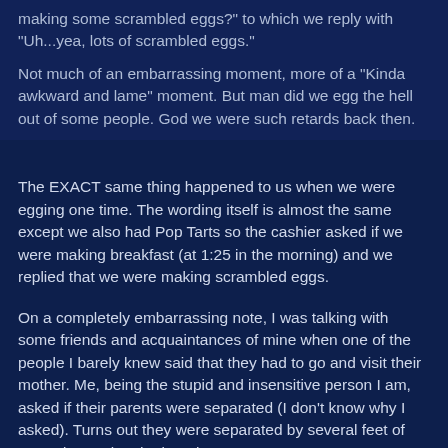making some scrambled eggs?" to which we reply with "Uh...yea, lots of scrambled eggs."
Not much of an embarrassing moment, more of a "Kinda awkward and lame" moment. But man did we egg the hell out of some people. God we were such retards back then.
The EXACT same thing happened to us when we were egging one time. The wording itself is almost the same except we also had Pop Tarts so the cashier asked if we were making breakfast (at 1:25 in the morning) and we replied that we were making scrambled eggs.
On a completely embarrassing note, I was talking with some friends and acquaintances of mine when one of the people I barely knew said that they had to go and visit their mother. Me, being the stupid and insensitive person I am, asked if their parents were separated (I don't know why I asked). Turns out they were separated by several feet of ground... We laugh about it now.